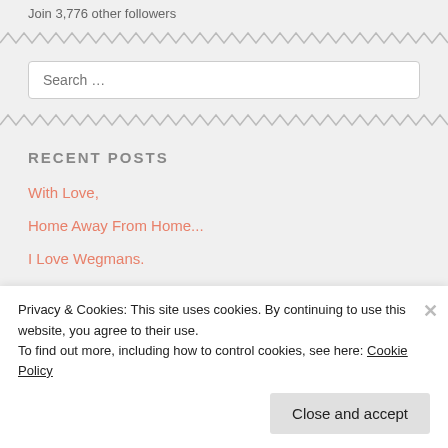Join 3,776 other followers
Search …
RECENT POSTS
With Love,
Home Away From Home...
I Love Wegmans.
Privacy & Cookies: This site uses cookies. By continuing to use this website, you agree to their use.
To find out more, including how to control cookies, see here: Cookie Policy
Close and accept